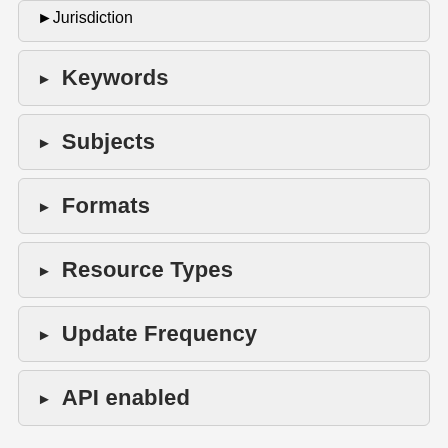▶ Jurisdiction
▶ Keywords
▶ Subjects
▶ Formats
▶ Resource Types
▶ Update Frequency
▶ API enabled